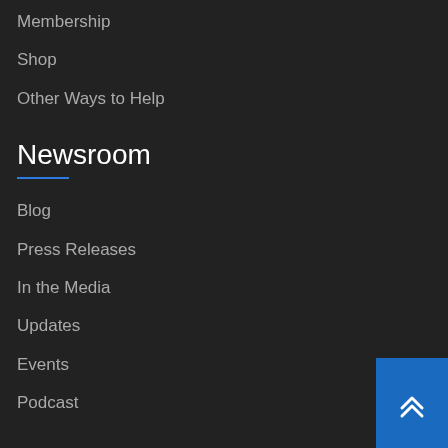Membership
Shop
Other Ways to Help
Newsroom
Blog
Press Releases
In the Media
Updates
Events
Podcast